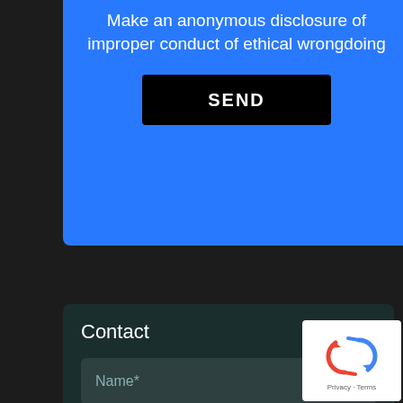Make an anonymous disclosure of improper conduct of ethical wrongdoing
SEND
Contact
Name*
Surname*
Email*
Message*
[Figure (logo): Google reCAPTCHA badge with recycling arrows icon and Privacy - Terms text]